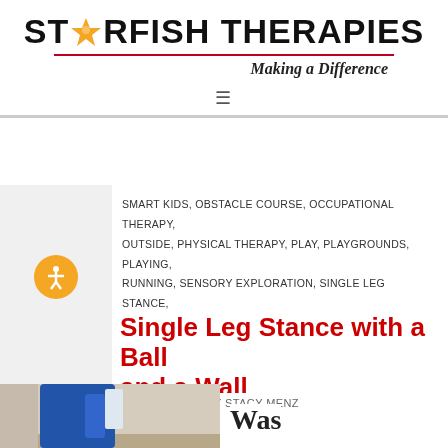[Figure (logo): Starfish Therapies logo with star graphic replacing the 'A' in STARFISH, text reads ST★RFISH THERAPIES with tagline Making a Difference]
SMART KIDS, OBSTACLE COURSE, OCCUPATIONAL THERAPY, OUTSIDE, PHYSICAL THERAPY, PLAY, PLAYGROUNDS, PLAYING, RUNNING, SENSORY EXPLORATION, SINGLE LEG STANCE, SQUATS, STRENGTHENING, THANKSGIVING, THERAPY BALL, TOYS, TUMMY TIME, VALENTINE'S DAY, WALKING, WATER
Single Leg Stance with a Ball and a Wall
APRIL 20, 2019 BY STACY MENZ
[Figure (photo): Photo of person in blue outfit performing single leg stance exercise against a wall, partially visible at bottom of page, with text 'Was' beside it]